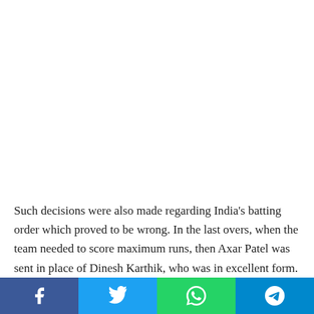Such decisions were also made regarding India's batting order which proved to be wrong. In the last overs, when the team needed to score maximum runs, then Axar Patel was sent in place of Dinesh Karthik, who was in excellent form. When Karthik came to bat after Akshar's dismissal, he scored 30 runs in 21 balls. Had he got more time, he could have added more to the score. (PTI)
[Figure (other): Social media share buttons bar: Facebook (blue), Twitter (light blue), WhatsApp (green), Telegram (dark blue)]